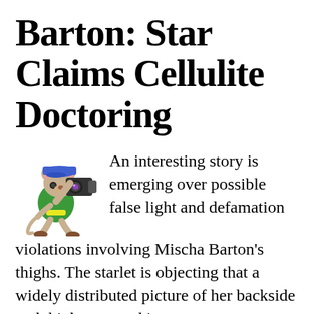Barton: Star Claims Cellulite Doctoring
[Figure (illustration): Cartoon illustration of a cat-like character wearing a green shirt and blue cap, holding a video camera up to its eye and running]
An interesting story is emerging over possible false light and defamation violations involving Mischa Barton's thighs. The starlet is objecting that a widely distributed picture of her backside and thighs covered in